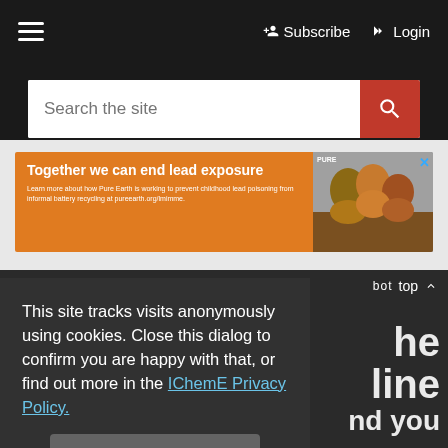☰  Subscribe  Login
[Figure (screenshot): Search bar with placeholder 'Search the site' and red search button with magnifying glass icon]
[Figure (photo): Advertisement banner: 'Together we can end lead exposure' with orange background and photo of smiling girls]
back to top ∧
he
line
and you
This site tracks visits anonymously using cookies. Close this dialog to confirm you are happy with that, or find out more in the IChemE Privacy Policy.
Close